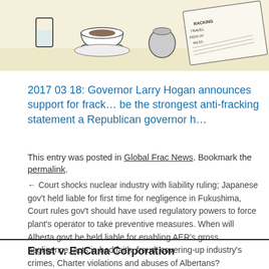[Figure (illustration): Partial illustration showing breakfast items (glass, coffee cup, newspaper with fracking headlines) on a cream/beige background, cropped at top of page]
2017 03 18: Governor Larry Hogan announces support for frack… be the strongest anti-fracking statement a Republican governor h…
This entry was posted in Global Frac News. Bookmark the permalink.
← Court shocks nuclear industry with liability ruling; Japanese gov't held liable for first time for negligence in Fukushima, Court rules gov't should have used regulatory powers to force plant's operator to take preventive measures. When will Alberta govt be held liable for enabling AER's gross negligence, acts in bad faith, fraud, covering-up industry's crimes, Charter violations and abuses of Albertans?
AMAZING (UNLIKE IN CA… must protect hea… drilling, Court si… Ruled pr…
Ernst v. EnCana Corporation